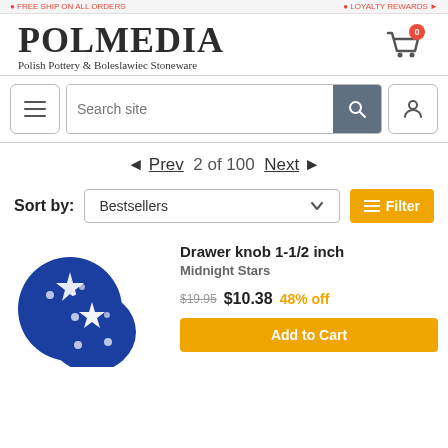FREE SHIP ON ALL ORDERS | LOYALTY REWARDS
POLMEDIA
Polish Pottery & Boleslawiec Stoneware
Cart: 0
Search site
◄ Prev  2 of 100  Next ►
Sort by: Bestsellers  Filter
[Figure (photo): Blue Polish pottery drawer knobs with white star pattern, two knobs shown]
Drawer knob 1-1/2 inch
Midnight Stars
$19.95  $10.38  48% off